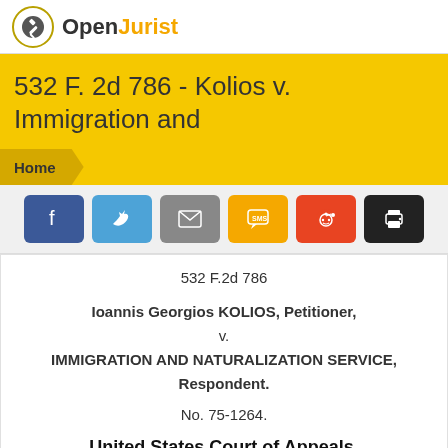OpenJurist
532 F. 2d 786 - Kolios v. Immigration and
Home
[Figure (infographic): Social sharing buttons: Facebook, Twitter, Email, SMS, Reddit, Print]
532 F.2d 786
Ioannis Georgios KOLIOS, Petitioner,
v.
IMMIGRATION AND NATURALIZATION SERVICE, Respondent.
No. 75-1264.
United States Court of Appeals, First Circuit.